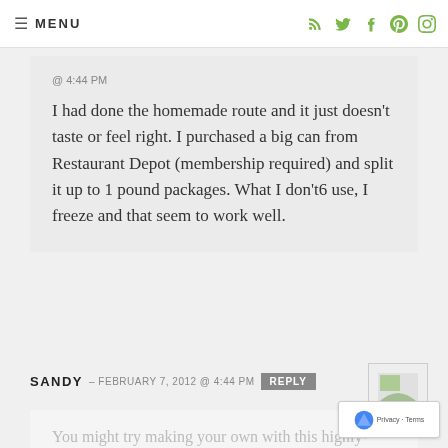≡ MENU
@ 4:44 PM
I had done the homemade route and it just doesn't taste or feel right. I purchased a big can from Restaurant Depot (membership required) and split it up to 1 pound packages. What I don't6 use, I freeze and that seem to work well.
SANDY – FEBRUARY 7, 2012 @ 4:44 PM REPLY
You might try making your own with this highly-rated recipe from Food TV: